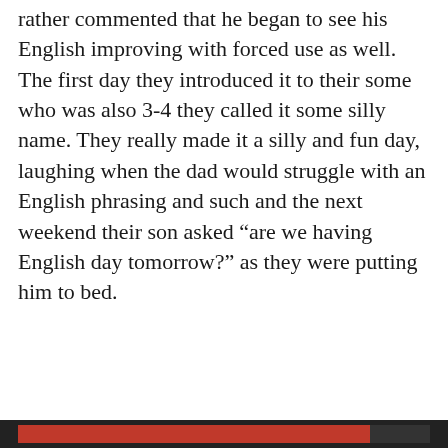rather commented that he began to see his English improving with forced use as well. The first day they introduced it to their some who was also 3-4 they called it some silly name. They really made it a silly and fun day, laughing when the dad would struggle with an English phrasing and such and the next weekend their son asked “are we having English day tomorrow?” as they were putting him to bed.
Privacy & Cookies: This site uses cookies. By continuing to use this website, you agree to their use.
To find out more, including how to control cookies, see here: Cookie Policy
Close and accept